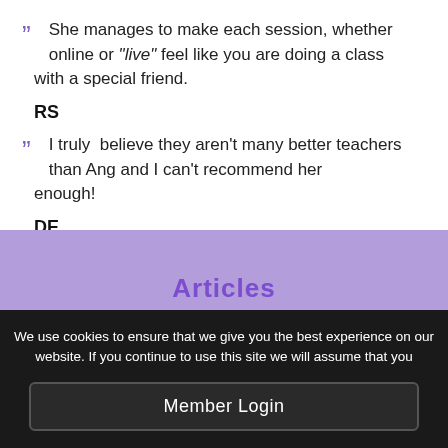She manages to make each session, whether online or "live" feel like you are doing a class with a special friend.
RS
I truly believe they aren't many better teachers than Ang and I can't recommend her enough!
DE
[Figure (other): Purple banner section with 'Articles' text partially visible]
We use cookies to ensure that we give you the best experience on our website. If you continue to use this site we will assume that you
Member Login